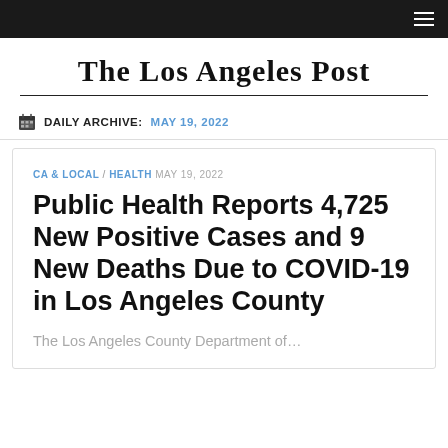The Los Angeles Post
DAILY ARCHIVE: MAY 19, 2022
CA & LOCAL / HEALTH MAY 19, 2022
Public Health Reports 4,725 New Positive Cases and 9 New Deaths Due to COVID-19 in Los Angeles County
The Los Angeles County Department of…